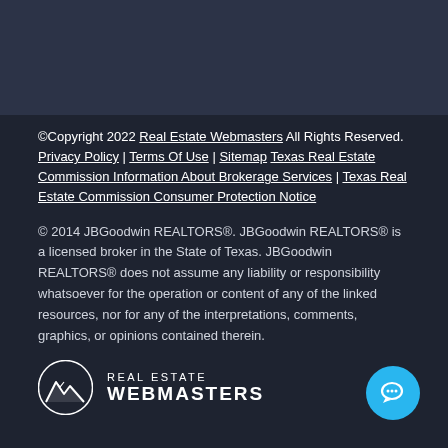©Copyright 2022 Real Estate Webmasters All Rights Reserved. Privacy Policy | Terms Of Use | Sitemap Texas Real Estate Commission Information About Brokerage Services | Texas Real Estate Commission Consumer Protection Notice
© 2014 JBGoodwin REALTORS®. JBGoodwin REALTORS® is a licensed broker in the State of Texas. JBGoodwin REALTORS® does not assume any liability or responsibility whatsoever for the operation or content of any of the linked resources, nor for any of the interpretations, comments, graphics, or opinions contained therein.
[Figure (logo): Real Estate Webmasters logo — mountain icon with text REAL ESTATE WEBMASTERS]